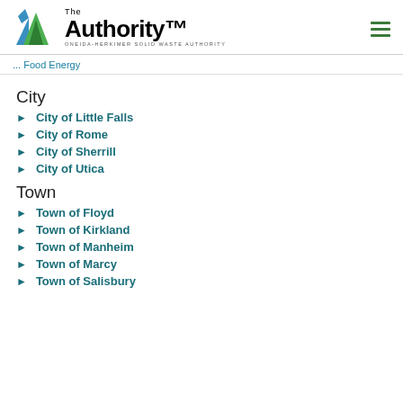The Authority - Oneida-Herkimer Solid Waste Authority
...Food Energy
City
City of Little Falls
City of Rome
City of Sherrill
City of Utica
Town
Town of Floyd
Town of Kirkland
Town of Manheim
Town of Marcy
Town of Salisbury